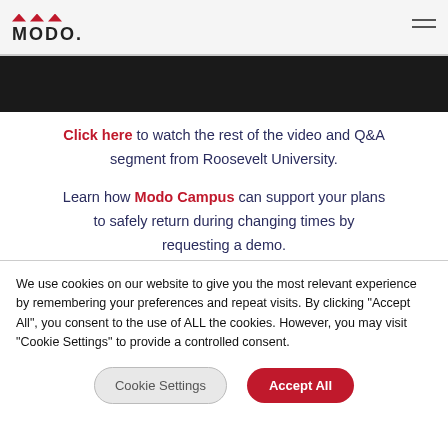MODO
[Figure (other): Dark banner/hero image strip]
Click here to watch the rest of the video and Q&A segment from Roosevelt University.
Learn how Modo Campus can support your plans to safely return during changing times by requesting a demo.
We use cookies on our website to give you the most relevant experience by remembering your preferences and repeat visits. By clicking "Accept All", you consent to the use of ALL the cookies. However, you may visit "Cookie Settings" to provide a controlled consent.